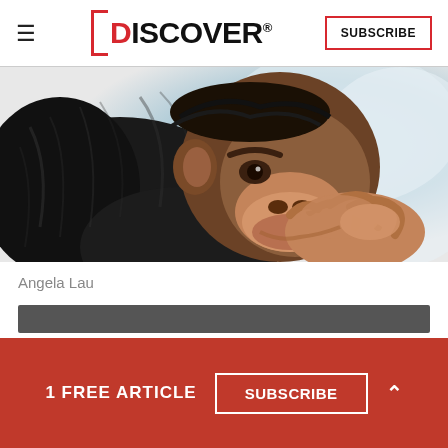≡ DISCOVER SUBSCRIBE
[Figure (illustration): Close-up illustration of a primate (ape/orangutan) in a thoughtful pose with hand raised to chin, rendered in colored pencil or paint style against a light blue background]
Angela Lau
Newsletter
1 FREE ARTICLE  SUBSCRIBE